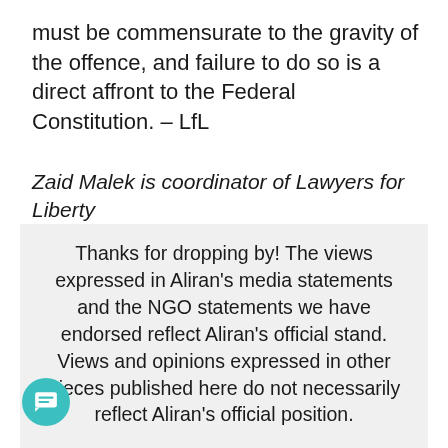must be commensurate to the gravity of the offence, and failure to do so is a direct affront to the Federal Constitution. – LfL
Zaid Malek is coordinator of Lawyers for Liberty
Thanks for dropping by! The views expressed in Aliran's media statements and the NGO statements we have endorsed reflect Aliran's official stand. Views and opinions expressed in other pieces published here do not necessarily reflect Aliran's official position.
Our voluntary writers work hard to keep these articles free for all to read. But we do need funds to support our struggle for Justice, Freedom and Solidarity. To maintain